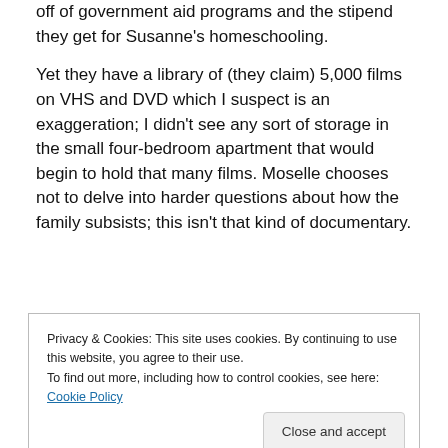off of government aid programs and the stipend they get for Susanne's homeschooling.
Yet they have a library of (they claim) 5,000 films on VHS and DVD which I suspect is an exaggeration; I didn't see any sort of storage in the small four-bedroom apartment that would begin to hold that many films. Moselle chooses not to delve into harder questions about how the family subsists; this isn't that kind of documentary.
[Figure (other): A blue 'Apply' button and a circular avatar image of a person thinking with hand on chin, appearing as webpage UI elements above a cookie consent banner.]
Privacy & Cookies: This site uses cookies. By continuing to use this website, you agree to their use.
To find out more, including how to control cookies, see here: Cookie Policy